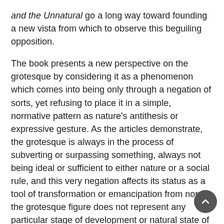and the Unnatural go a long way toward founding a new vista from which to observe this beguiling opposition.
The book presents a new perspective on the grotesque by considering it as a phenomenon which comes into being only through a negation of sorts, yet refusing to place it in a simple, normative pattern as nature's antithesis or expressive gesture. As the articles demonstrate, the grotesque is always in the process of subverting or surpassing something, always not being ideal or sufficient to either nature or a social rule, and this very negation affects its status as a tool of transformation or emancipation from norm: the grotesque figure does not represent any particular stage of development or natural state of being. As such, the grotesque hints at and hinges on something that exceeds habitual spheres of culture and communication but, as the book aims to show, this elusiveness of meaning gives no cause for analytic despair. By tracing the involutions of the grotesque with the unnatural in specific literary cases, the book evokes centuries of Western cultural